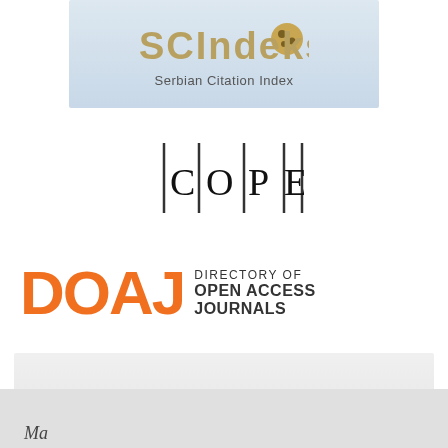[Figure (logo): SCIndeks - Serbian Citation Index logo on a light blue-grey banner background]
[Figure (logo): COPE logo - vertical bar separated letters C O P E]
[Figure (logo): DOAJ - Directory of Open Access Journals logo with orange letters]
[Figure (logo): CEEOL - Central and Eastern European Online Library logo on grey banner]
Ma...